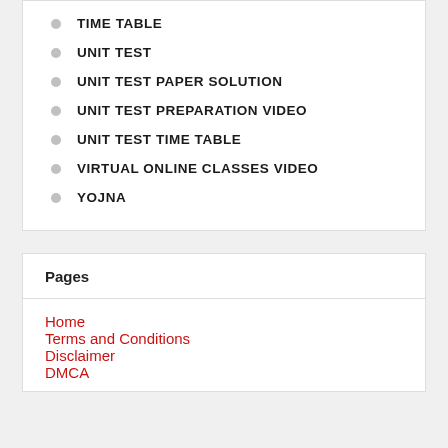TIME TABLE
UNIT TEST
UNIT TEST PAPER SOLUTION
UNIT TEST PREPARATION VIDEO
UNIT TEST TIME TABLE
VIRTUAL ONLINE CLASSES VIDEO
YOJNA
Pages
Home
Terms and Conditions
Disclaimer
DMCA